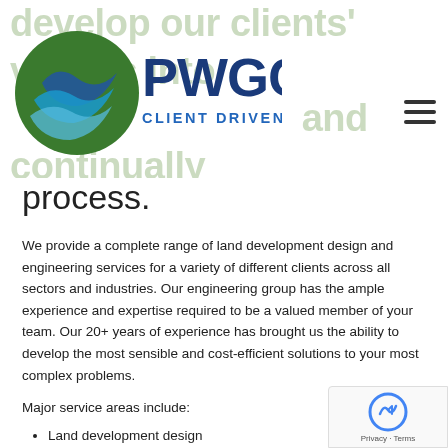[Figure (logo): PWGC logo with green circular wave icon and text 'PWGC CLIENT DRIVEN SOLUTIONS' in blue/dark blue]
develop our clients' visions into ... and continually exceed their expectations in the
process.
We provide a complete range of land development design and engineering services for a variety of different clients across all sectors and industries. Our engineering group has the ample experience and expertise required to be a valued member of your team. Our 20+ years of experience has brought us the ability to develop the most sensible and cost-efficient solutions to your most complex problems.
Major service areas include:
Land development design
Zoning & permitting
Water supply design
Storm water management & compliance